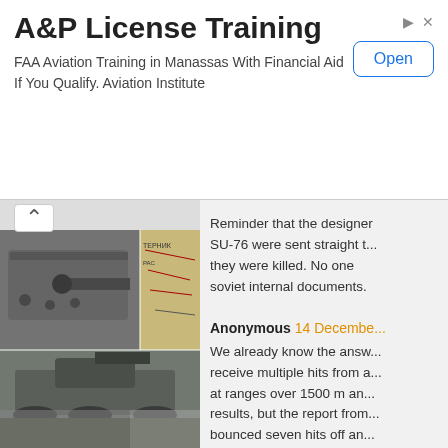[Figure (screenshot): Advertisement banner: A&P License Training. FAA Aviation Training in Manassas With Financial Aid If You Qualify. Aviation Institute. Open button.]
[Figure (photo): Collage of WWII-era military vehicle photos including tanks and soldiers in black and white, with a map inset.]
Reminder that the designer of the SU-76 were sent straight to ... they were killed. No one ... soviet internal documents.
Anonymous 14 December ...
We already know the answ... receive multiple hits from a ... at ranges over 1500 m an... results, but the report from ... bounced seven hits off an ... destroyed at 700 m.
Unknown 18 August 2015 ...
Hey. Its me, your old pal Vo... you are still trolling on ... Youtube video.